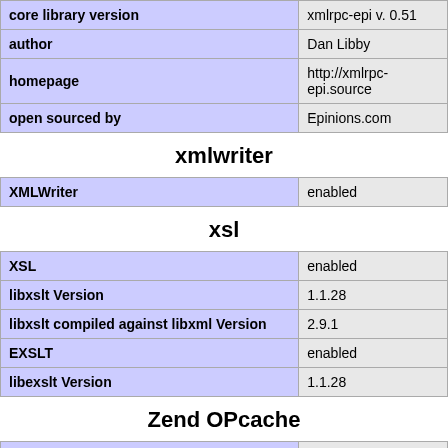|  |  |
| --- | --- |
| core library version | xmlrpc-epi v. 0.51 |
| author | Dan Libby |
| homepage | http://xmlrpc-epi.source |
| open sourced by | Epinions.com |
xmlwriter
| XMLWriter | enabled |
| --- | --- |
xsl
|  |  |
| --- | --- |
| XSL | enabled |
| libxslt Version | 1.1.28 |
| libxslt compiled against libxml Version | 2.9.1 |
| EXSLT | enabled |
| libexslt Version | 1.1.28 |
Zend OPcache
|  |  |
| --- | --- |
| Opcode Caching | Up and Running |
| Optimization | Enabled |
| SHM Cache | Enabled |